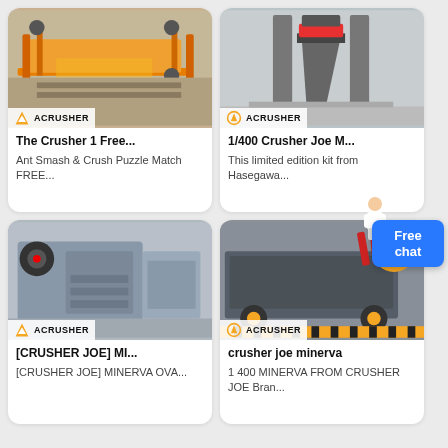[Figure (photo): Industrial vibrating screen / conveyor machine with orange frame, branded Acrusher]
The Crusher 1 Free...
Ant Smash & Crush Puzzle Match FREE...
[Figure (photo): Large cone crusher industrial machine in factory, branded Acrusher]
1/400 Crusher Joe M...
This limited edition kit from Hasegawa...
[Figure (photo): Jaw crusher grey industrial machine in factory, branded Acrusher]
[CRUSHER JOE] MI...
[CRUSHER JOE] MINERVA OVA...
[Figure (photo): Dark grey hammer/impact crusher on wheels in factory, branded Acrusher, with orange up-arrow badge]
crusher joe minerva
1 400 MINERVA FROM CRUSHER JOE Bran...